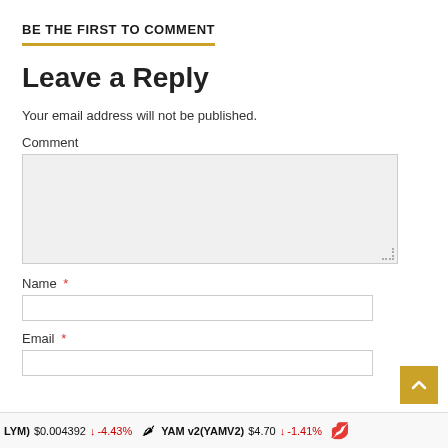BE THE FIRST TO COMMENT
Leave a Reply
Your email address will not be published.
Comment
[Figure (other): Comment textarea input box with resize handle]
Name *
[Figure (other): Name text input field]
Email *
[Figure (other): Email text input field]
LYM) $0.004392 ↓ -4.43% 🌶 YAM v2(YAMV2) $4.70 ↓ -1.41%